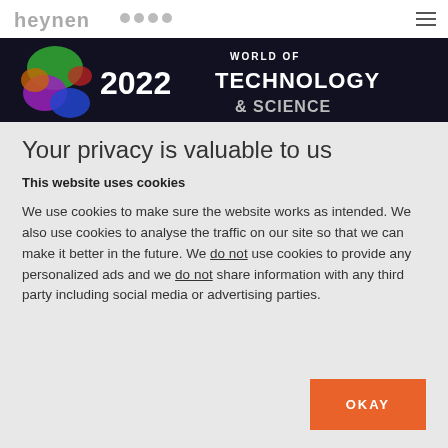heynen oooo
[Figure (photo): Banner image for World of Technology & Science 2022 event, with colorful geometric shapes on the left and large white text on dark background]
Your privacy is valuable to us
This website uses cookies
We use cookies to make sure the website works as intended. We also use cookies to analyse the traffic on our site so that we can make it better in the future. We do not use cookies to provide any personalized ads and we do not share information with any third party including social media or advertising parties.